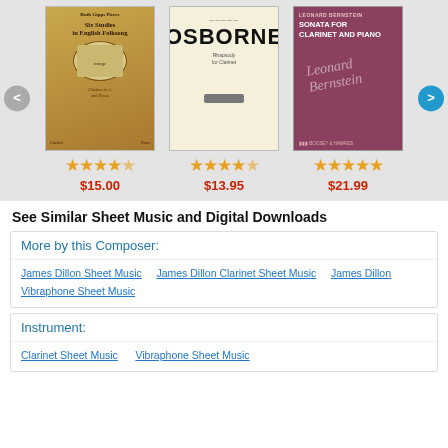[Figure (other): Product carousel showing three sheet music book covers with star ratings and prices. Book 1: tan/gold cover with oval image, 4.5 stars, $15.00. Book 2: cream OSBORNE cover, 4 stars, $13.95. Book 3: burgundy Bernstein Sonata for Clarinet and Piano cover, 5 stars, $21.99. Navigation arrows on left (gray) and right (blue).]
See Similar Sheet Music and Digital Downloads
More by this Composer:
James Dillon Sheet Music
James Dillon Clarinet Sheet Music
James Dillon Vibraphone Sheet Music
Instrument:
Clarinet Sheet Music
Vibraphone Sheet Music